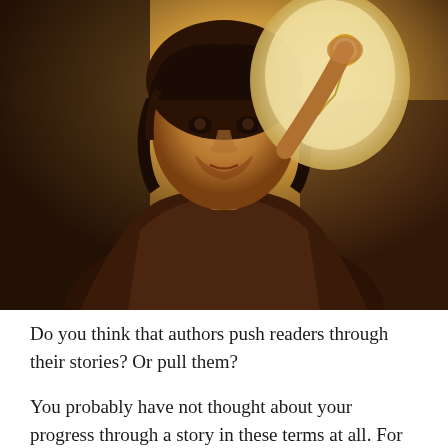[Figure (photo): A hobbit-like figure (resembling Frodo from Lord of the Rings) holding up a ring on a chain, warm golden/brown tones, dramatic lighting]
Do you think that authors push readers through their stories? Or pull them?
You probably have not thought about your progress through a story in these terms at all. For readers, the sensation is that they themselves are in control of whether they read or not. A reader picks up a book, reads a page or more, then puts it down - everything is reader-controlled